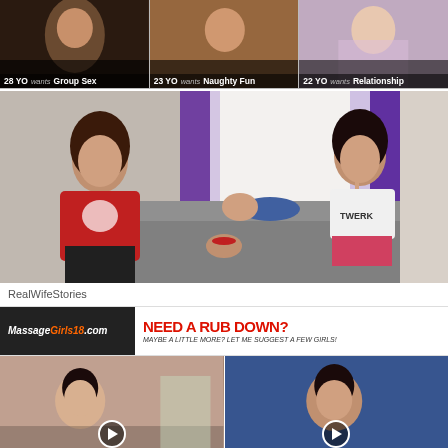[Figure (photo): Three adult dating profile thumbnails. Left: 28 YO wants Group Sex. Middle: 23 YO wants Naughty Fun. Right: 22 YO wants Relationship.]
[Figure (photo): Large photo showing two women holding hands indoors, labeled RealWifeStories]
RealWifeStories
[Figure (photo): MassageGirls18.com advertisement banner with text NEED A RUB DOWN? MAYBE A LITTLE MORE? LET ME SUGGEST A FEW GIRLS!]
[Figure (photo): Two massage video thumbnails at the bottom of the page]